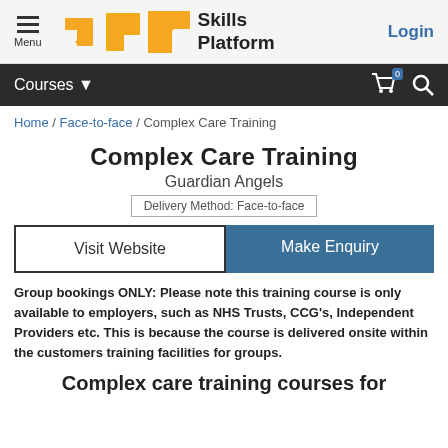Menu | Skills Platform | Login
Courses ▼  🛒 0  🔍
Home / Face-to-face / Complex Care Training
Complex Care Training
Guardian Angels
Delivery Method: Face-to-face
Visit Website
Make Enquiry
Group bookings ONLY: Please note this training course is only available to employers, such as NHS Trusts, CCG's, Independent Providers etc. This is because the course is delivered onsite within the customers training facilities for groups.
Complex care training courses for